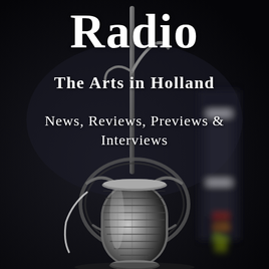[Figure (photo): A close-up photograph of a professional broadcast microphone in a radio studio. The microphone has a chrome/metallic body with a classic cylindrical design and is mounted on a black arm/shock mount. In the blurred background is radio studio equipment including what appears to be a mixer or audio rack with illuminated red and yellow/green indicator lights. The overall background is dark/black, giving a moody studio ambiance.]
Radio
The Arts in Holland
News, Reviews, Previews & Interviews